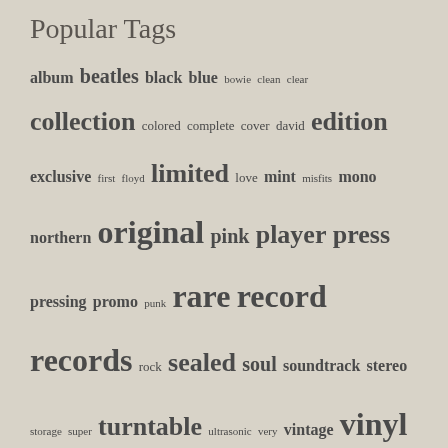Popular Tags
album beatles black blue bowie clean clear collection colored complete cover david edition exclusive first floyd limited love mint misfits mono northern original pink player press pressing promo punk rare record records rock sealed soul soundtrack stereo storage super turntable ultrasonic very vintage vinyl white
Search Terms
ariana grande my everything lavender vinyl
MAC MILLER - MACADELIC 2LP (10TH ANNIVERSARY EDITION TRICOLOR
fiona apple vinil
vta adjuster
selena quintanilla vinyl records